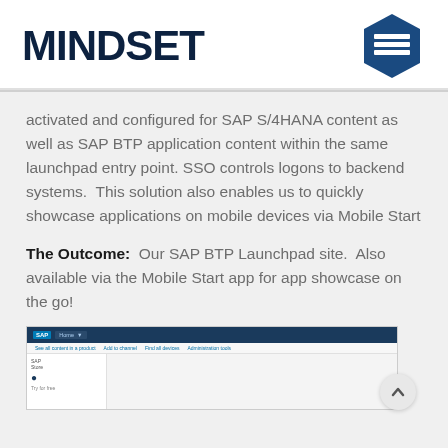[Figure (logo): MINDSET company logo with dark navy text and a hexagon icon with horizontal lines on the right]
activated and configured for SAP S/4HANA content as well as SAP BTP application content within the same launchpad entry point. SSO controls logons to backend systems.  This solution also enables us to quickly showcase applications on mobile devices via Mobile Start
The Outcome:  Our SAP BTP Launchpad site.  Also available via the Mobile Start app for app showcase on the go!
[Figure (screenshot): Screenshot of SAP BTP Launchpad site showing a dark navigation bar, tabs, and a sidebar with a card]